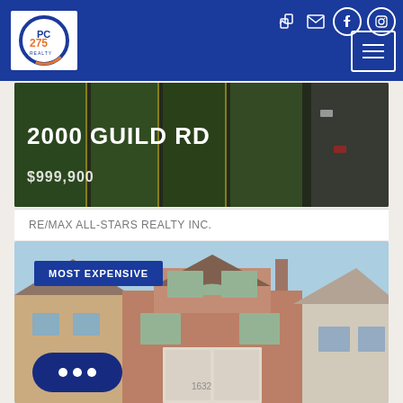[Figure (screenshot): PC275 Realty logo on white background inside dark blue header navigation bar with social media icons and hamburger menu]
[Figure (photo): Aerial view of 2000 Guild Rd property showing green lots and road, overlaid with property address and price $999,900]
RE/MAX ALL-STARS REALTY INC.
[Figure (photo): Street-level photo of suburban brick houses with blue sky, labeled MOST EXPENSIVE badge]